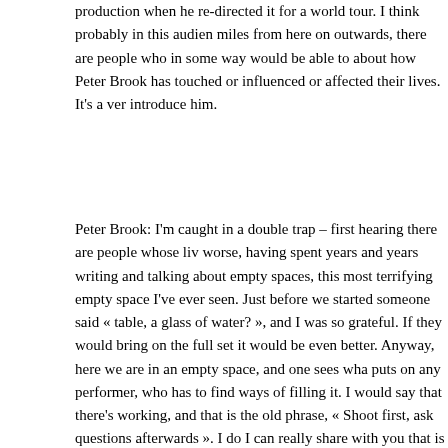production when he re-directed it for a world tour. I think probably in this audience, miles from here on outwards, there are people who in some way would be able to about how Peter Brook has touched or influenced or affected their lives. It's a ver introduce him.
Peter Brook: I'm caught in a double trap – first hearing there are people whose lives worse, having spent years and years writing and talking about empty spaces, this most terrifying empty space I've ever seen. Just before we started someone said « table, a glass of water? », and I was so grateful. If they would bring on the full set it would be even better. Anyway, here we are in an empty space, and one sees what puts on any performer, who has to find ways of filling it. I would say that there's working, and that is the old phrase, « Shoot first, ask questions afterwards ». I do I can really share with you that is to do with the theatre, that isn't somehow based
So I'd like to know if you'd agree to do something now? [The audience agree]
I'll ask you to do something very simple, without saying why, then afterwards I'll course, it's no use unless everyone does it, yet at the same time there must be exc you to stand up in a moment, but of course, if there are people in the audience wh ridiculous, I don't like this sort of thing » (and every time one does an exercise w somebody who grumbles, either out loud, or even worse to himself, but you can ju So if there are such people here, that can be accepted as part of life, as long as the